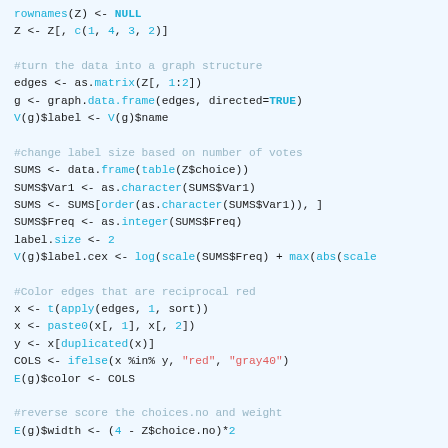rownames(Z) <- NULL
Z <- Z[, c(1, 4, 3, 2)]

#turn the data into a graph structure
edges <- as.matrix(Z[, 1:2])
g <- graph.data.frame(edges, directed=TRUE)
V(g)$label <- V(g)$name

#change label size based on number of votes
SUMS <- data.frame(table(Z$choice))
SUMS$Var1 <- as.character(SUMS$Var1)
SUMS <- SUMS[order(as.character(SUMS$Var1)), ]
SUMS$Freq <- as.integer(SUMS$Freq)
label.size <- 2
V(g)$label.cex <- log(scale(SUMS$Freq) + max(abs(scale

#Color edges that are reciprocal red
x <- t(apply(edges, 1, sort))
x <- paste0(x[, 1], x[, 2])
y <- x[duplicated(x)]
COLS <- ifelse(x %in% y, "red", "gray40")
E(g)$color <- COLS

#reverse score the choices.no and weight
E(g)$width <- (4 - Z$choice.no)*2

#color vertex based on sex
V(g)$gender <- Y$sex